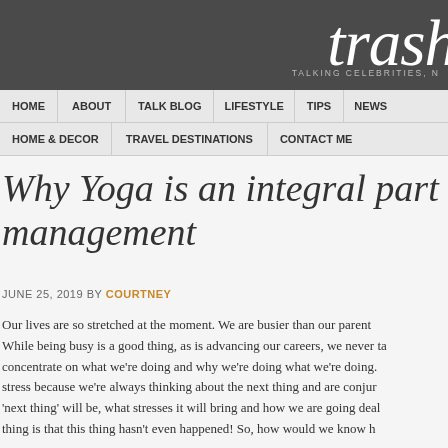trash — TALKING CELEBRITIES, N
HOME | ABOUT | TALK BLOG | LIFESTYLE | TIPS | NEWS | HOME & DECOR | TRAVEL DESTINATIONS | CONTACT ME
Why Yoga is an integral part of stress management
JUNE 25, 2019 BY COURTNEY
Our lives are so stretched at the moment. We are busier than our parent While being busy is a good thing, as is advancing our careers, we never ta concentrate on what we're doing and why we're doing what we're doing. stress because we're always thinking about the next thing and are conjur 'next thing' will be, what stresses it will bring and how we are going deal thing is that this thing hasn't even happened! So, how would we know h